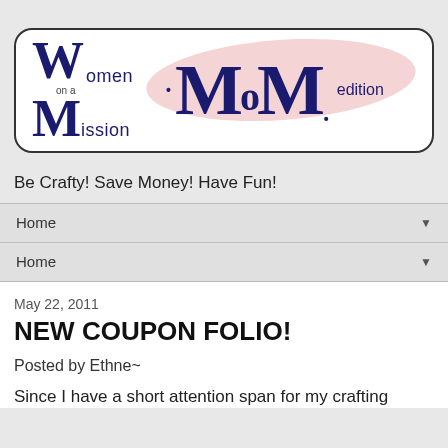[Figure (logo): Women on a Mission MoM edition logo with pink oval background, dark navy blue bold text on white rounded rectangle border]
Be Crafty! Save Money! Have Fun!
Home
Home
May 22, 2011
NEW COUPON FOLIO!
Posted by Ethne~
Since I have a short attention span for my crafting